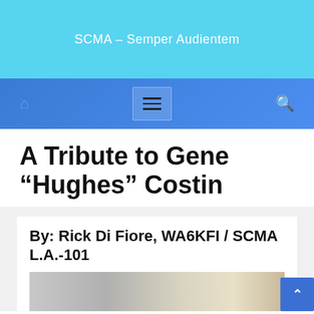SCMA – Semper Audientem
[Figure (screenshot): Navigation bar with home icon, hamburger menu button, and search icon on a blue gradient background]
A Tribute to Gene “Hughes” Costin
By: Rick Di Fiore, WA6KFI / SCMA L.A.-101
[Figure (photo): Partial photo of a person with bookshelves in background, bottom of the article card]